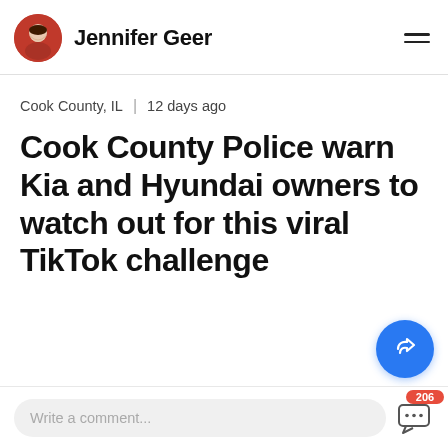Jennifer Geer
Cook County, IL  12 days ago
Cook County Police warn Kia and Hyundai owners to watch out for this viral TikTok challenge
Write a comment...
206